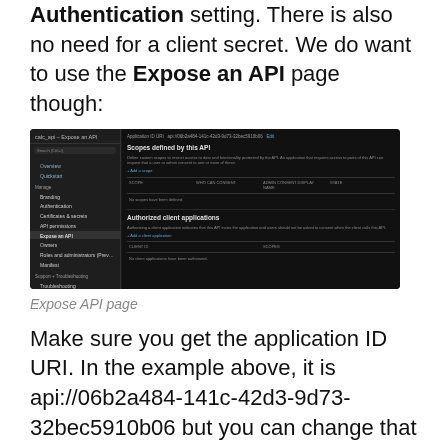Authentication setting. There is also no need for a client secret. We do want to use the Expose an API page though:
[Figure (screenshot): Azure AD app registration 'calc_api - Expose an API' page showing Scopes defined by this API section (no scopes defined) and Authorized client applications section (no client applications authorized). The left sidebar shows navigation items including Overview, Quickstart, Branding, Authentication, Certificates & secrets, API permissions, Expose an API, Owners, Roles and administrators, Manifest, Troubleshooting, and New support request.]
Expose API page
Make sure you get the application ID URI. In the example above, it is api://06b2a484-141c-42d3-9d73-32bec5910b06 but you can change that to something